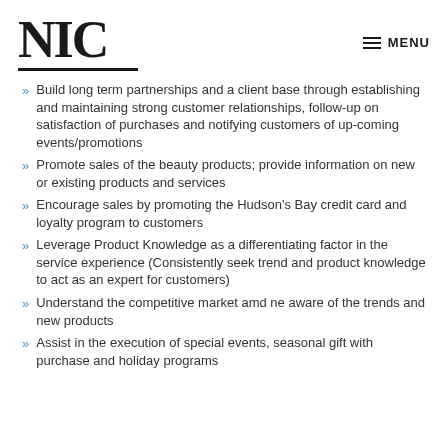NIC   MENU
Build long term partnerships and a client base through establishing and maintaining strong customer relationships, follow-up on satisfaction of purchases and notifying customers of up-coming events/promotions
Promote sales of the beauty products; provide information on new or existing products and services
Encourage sales by promoting the Hudson's Bay credit card and loyalty program to customers
Leverage Product Knowledge as a differentiating factor in the service experience (Consistently seek trend and product knowledge to act as an expert for customers)
Understand the competitive market amd ne aware of the trends and new products
Assist in the execution of special events, seasonal gift with purchase and holiday programs